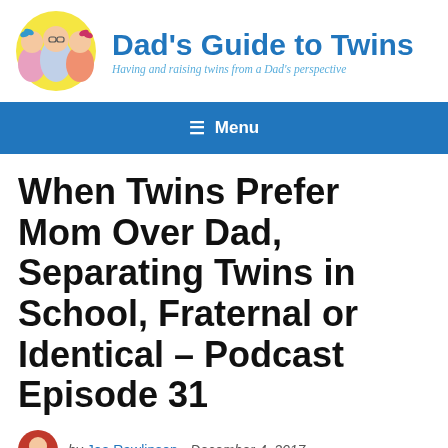[Figure (logo): Dad's Guide to Twins site logo with cartoon illustration of dad and two daughters, site title text and subtitle]
≡  Menu
When Twins Prefer Mom Over Dad, Separating Twins in School, Fraternal or Identical – Podcast Episode 31
by Joe Rawlinson - December 4, 2017